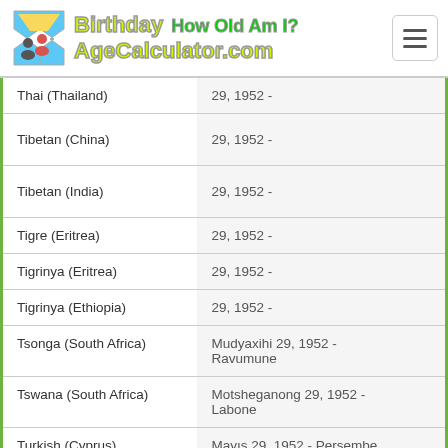Birthday How Old Am I? AgeCalculator.com
| Language | Date |
| --- | --- |
| Thai (Thailand) | 29, 1952 - |
| Tibetan (China) | 29, 1952 - |
| Tibetan (India) | 29, 1952 - |
| Tigre (Eritrea) | 29, 1952 - |
| Tigrinya (Eritrea) | 29, 1952 - |
| Tigrinya (Ethiopia) | 29, 1952 - |
| Tsonga (South Africa) | Mudyaxihi 29, 1952 - Ravumune |
| Tswana (South Africa) | Motsheganong 29, 1952 - Labone |
| Turkish (Cyprus) | Mayıs 29, 1952 - Perşembe |